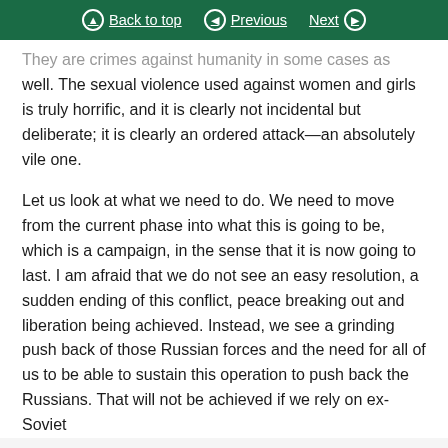Back to top   Previous   Next
They are crimes against humanity in some cases as well. The sexual violence used against women and girls is truly horrific, and it is clearly not incidental but deliberate; it is clearly an ordered attack—an absolutely vile one.
Let us look at what we need to do. We need to move from the current phase into what this is going to be, which is a campaign, in the sense that it is now going to last. I am afraid that we do not see an easy resolution, a sudden ending of this conflict, peace breaking out and liberation being achieved. Instead, we see a grinding push back of those Russian forces and the need for all of us to be able to sustain this operation to push back the Russians. That will not be achieved if we rely on ex-Soviet